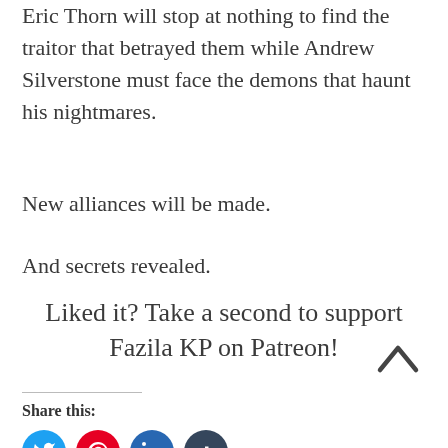Eric Thorn will stop at nothing to find the traitor that betrayed them while Andrew Silverstone must face the demons that haunt his nightmares.
New alliances will be made.
And secrets revealed.
Liked it? Take a second to support Fazila KP on Patreon!
Share this: